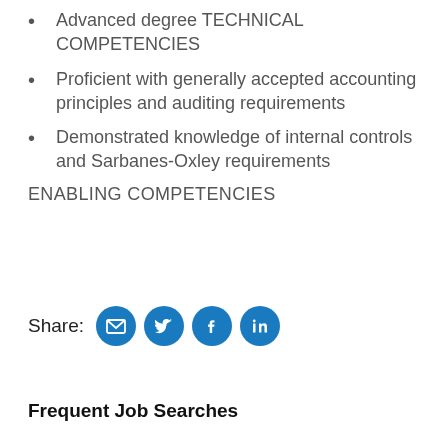Advanced degree TECHNICAL COMPETENCIES
Proficient with generally accepted accounting principles and auditing requirements
Demonstrated knowledge of internal controls and Sarbanes-Oxley requirements
ENABLING COMPETENCIES
Share: [email] [twitter] [facebook] [linkedin]
Frequent Job Searches